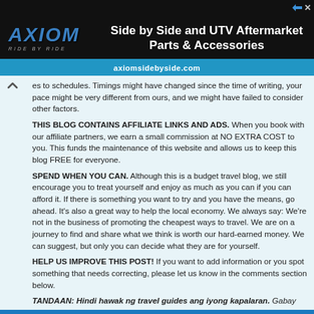[Figure (screenshot): Axiom Side by Side advertisement banner with logo on dark background. Text reads 'Side by Side and UTV Aftermarket Parts & Accessories' and URL 'axiomsidebyside.com' in blue bar.]
es to schedules. Timings might have changed since the time of writing, your pace might be very different from ours, and we might have failed to consider other factors.
THIS BLOG CONTAINS AFFILIATE LINKS AND ADS. When you book with our affiliate partners, we earn a small commission at NO EXTRA COST to you. This funds the maintenance of this website and allows us to keep this blog FREE for everyone.
SPEND WHEN YOU CAN. Although this is a budget travel blog, we still encourage you to treat yourself and enjoy as much as you can if you can afford it. If there is something you want to try and you have the means, go ahead. It's also a great way to help the local economy. We always say: We're not in the business of promoting the cheapest ways to travel. We are on a journey to find and share what we think is worth our hard-earned money. We can suggest, but only you can decide what they are for yourself.
HELP US IMPROVE THIS POST! If you want to add information or you spot something that needs correcting, please let us know in the comments section below.
TANDAAN: Hindi hawak ng travel guides ang iyong kapalaran. Gabay lamang sila. Mayroon tayong free will. Gamitin natin ito. Charz.